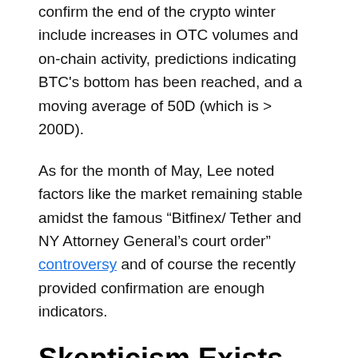confirm the end of the crypto winter include increases in OTC volumes and on-chain activity, predictions indicating BTC's bottom has been reached, and a moving average of 50D (which is > 200D).
As for the month of May, Lee noted factors like the market remaining stable amidst the famous "Bitfinex/Tether and NY Attorney General's court order" controversy and of course the recently provided confirmation are enough indicators.
Skepticism Exists Regardless
Although many are arguing that the bear market is officially coming to an end, an equal number of analysts, leaders and supporters are wary of the claims and arguments made. This was witnessed